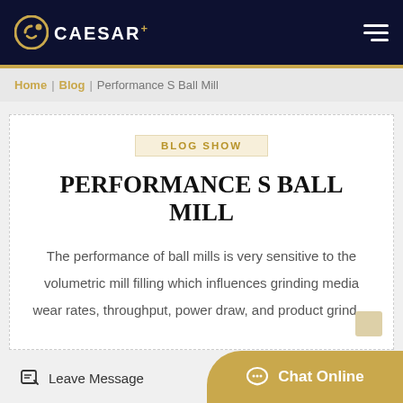CAESAR+
Home | Blog | Performance S Ball Mill
BLOG SHOW
PERFORMANCE S BALL MILL
The performance of ball mills is very sensitive to the volumetric mill filling which influences grinding media wear rates, throughput, power draw, and product grind…
Leave Message
Chat Online